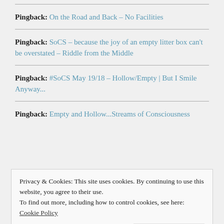Pingback: On the Road and Back – No Facilities
Pingback: SoCS – because the joy of an empty litter box can't be overstated – Riddle from the Middle
Pingback: #SoCS May 19/18 – Hollow/Empty | But I Smile Anyway...
Pingback: Empty and Hollow...Streams of Consciousness
Privacy & Cookies: This site uses cookies. By continuing to use this website, you agree to their use. To find out more, including how to control cookies, see here: Cookie Policy